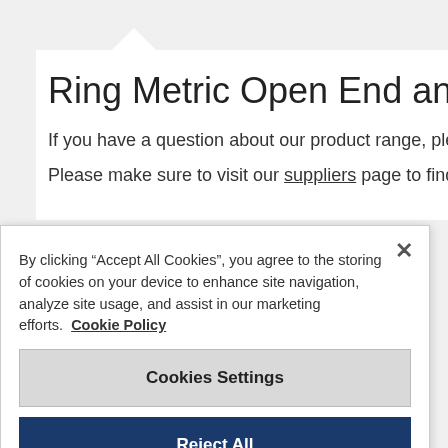Ring Metric Open End and Ring Po...
If you have a question about our product range, please fill in...
Please make sure to visit our suppliers page to find a supplie...
By clicking “Accept All Cookies”, you agree to the storing of cookies on your device to enhance site navigation, analyze site usage, and assist in our marketing efforts. Cookie Policy
Cookies Settings
Reject All
Accept All Cookies